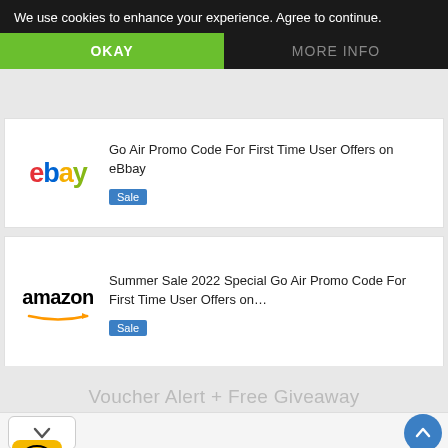We use cookies to enhance your experience. Agree to continue.
OKAY
MORE INFO
Go Air Promo Code For First Time User Offers on eBbay
Sale
Summer Sale 2022 Special Go Air Promo Code For First Time User Offers on…
Sale
Voucher Alert + Free Giveaway
Time For a Trim?
Hair Cuttery